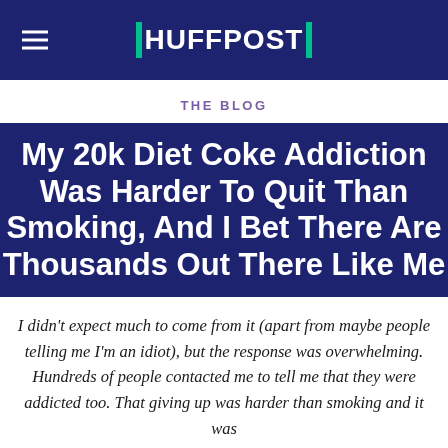HUFFPOST
THE BLOG
My 20k Diet Coke Addiction Was Harder To Quit Than Smoking, And I Bet There Are Thousands Out There Like Me
I didn't expect much to come from it (apart from maybe people telling me I'm an idiot), but the response was overwhelming. Hundreds of people contacted me to tell me that they were addicted too. That giving up was harder than smoking and it was